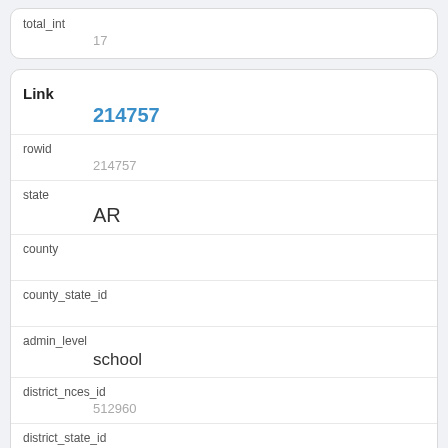| field | value |
| --- | --- |
| total_int | 17 |
| field | value |
| --- | --- |
| Link | 214757 |
| rowid | 214757 |
| state | AR |
| county |  |
| county_state_id |  |
| admin_level | school |
| district_nces_id | 512960 |
| district_state_id | 104000 |
| district_state_type |  |